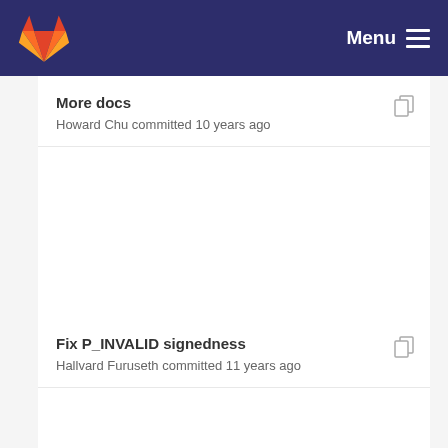[Figure (screenshot): GitLab navigation bar with fox logo and Menu hamburger icon on dark navy background]
More docs
Howard Chu committed 10 years ago
Fix P_INVALID signedness
Hallvard Furuseth committed 11 years ago